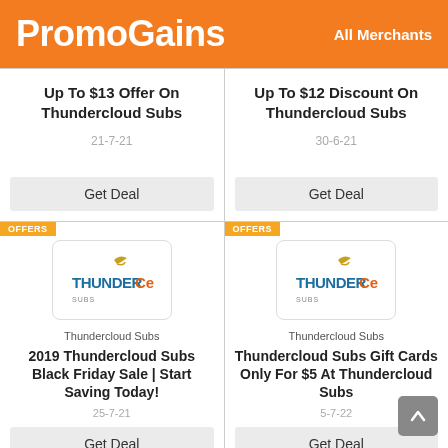PromoGains   All Merchants
Up To $13 Offer On Thundercloud Subs
21-7-21
Get Deal
Up To $12 Discount On Thundercloud Subs
30-6-21
Get Deal
OFFERS
[Figure (logo): Thundercloud Subs logo with seagull and blue text]
Thundercloud Subs
2019 Thundercloud Subs Black Friday Sale | Start Saving Today!
25-7-21
Get Deal
OFFERS
[Figure (logo): Thundercloud Subs logo with seagull and blue text]
Thundercloud Subs
Thundercloud Subs Gift Cards Only For $5 At Thundercloud Subs
5-7-22
Get Deal